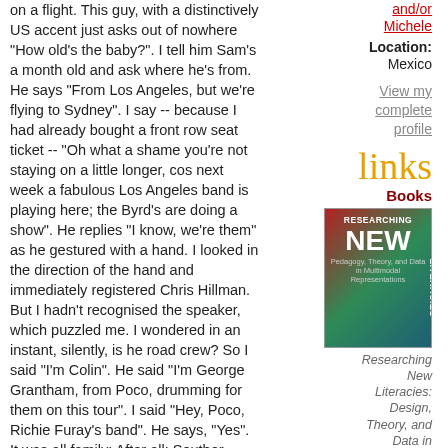on a flight. This guy, with a distinctively US accent just asks out of nowhere "How old's the baby?". I tell him Sam's a month old and ask where he's from. He says "From Los Angeles, but we're flying to Sydney". I say -- because I had already bought a front row seat ticket -- "Oh what a shame you're not staying on a little longer, cos next week a fabulous Los Angeles band is playing here; the Byrd's are doing a show". He replies "I know, we're them" as he gestured with a hand. I looked in the direction of the hand and immediately registered Chris Hillman. But I hadn't recognised the speaker, which puzzled me. I wondered in an instant, silently, is he road crew? So I said "I'm Colin". He said "I'm George Grantham, from Poco, drumming for them on this tour". I said "Hey, Poco, Richie Furay's band". He says, "Yes". It was all family: After all: Souther Hillman Furay. Why *wouldn't* Poco's drummer be playing with the Byrds on a short tour?
and/or Michele
Location: Mexico
View my complete profile
links
Books
[Figure (photo): Book cover for 'Researching New Literacies: Design, Theory, and Data in' with red, green, and teal gradient background and bold white text]
Researching New Literacies: Design, Theory, and Data in